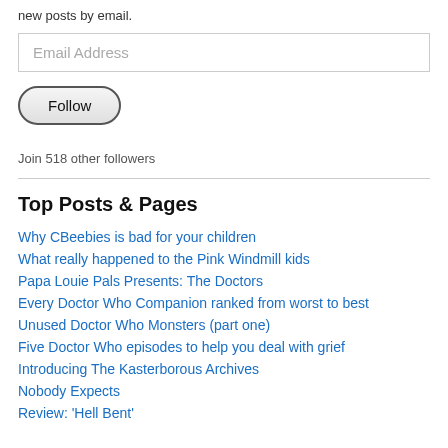new posts by email.
Email Address
Follow
Join 518 other followers
Top Posts & Pages
Why CBeebies is bad for your children
What really happened to the Pink Windmill kids
Papa Louie Pals Presents: The Doctors
Every Doctor Who Companion ranked from worst to best
Unused Doctor Who Monsters (part one)
Five Doctor Who episodes to help you deal with grief
Introducing The Kasterborous Archives
Nobody Expects
Review: 'Hell Bent'